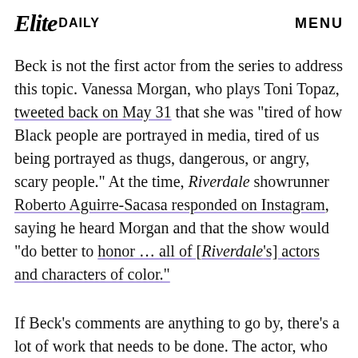Elite DAILY   MENU
Beck is not the first actor from the series to address this topic. Vanessa Morgan, who plays Toni Topaz, tweeted back on May 31 that she was "tired of how Black people are portrayed in media, tired of us being portrayed as thugs, dangerous, or angry, scary people." At the time, Riverdale showrunner Roberto Aguirre-Sacasa responded on Instagram, saying he heard Morgan and that the show would "do better to honor ... all of [Riverdale's] actors and characters of color."
If Beck's comments are anything to go by, there's a lot of work that needs to be done. The actor, who has been part of the show since Season 3, told Elle that